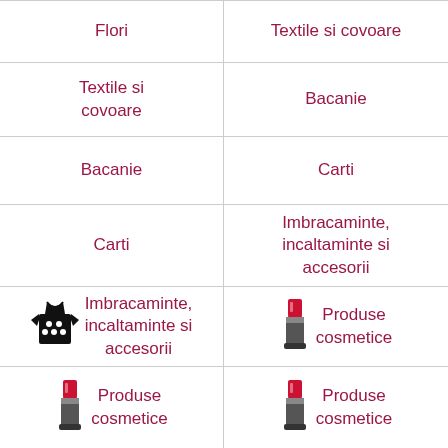| Flori | Textile si covoare |
| Textile si covoare | Bacanie |
| Bacanie | Carti |
| Carti | Imbracaminte, incaltaminte si accesorii |
| [tshirt icon] Imbracaminte, incaltaminte si accesorii | [lipstick icon] Produse cosmetice |
| [lipstick icon] Produse cosmetice | [lipstick icon] Produse cosmetice |